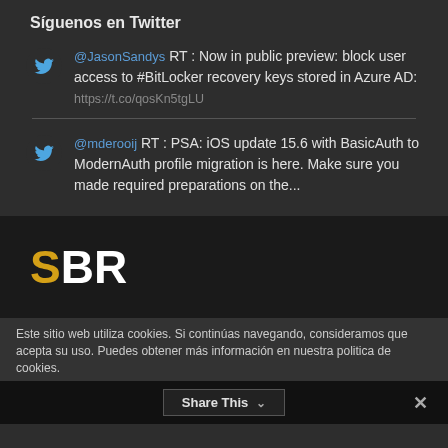Síguenos en Twitter
@JasonSandys RT : Now in public preview: block user access to #BitLocker recovery keys stored in Azure AD: https://t.co/qosKn5tgLU
@mderooij RT : PSA: iOS update 15.6 with BasicAuth to ModernAuth profile migration is here. Make sure you made required preparations on the...
[Figure (logo): SBR logo with orange S and white BR letters on dark background]
Este sitio web utiliza cookies. Si continúas navegando, consideramos que acepta su uso. Puedes obtener más información en nuestra politica de cookies.
Share This